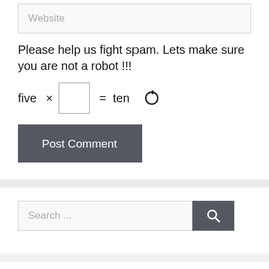Website
Please help us fight spam. Lets make sure you are not a robot !!!
five  x  [ ]  =  ten  ↻
Post Comment
Search ...